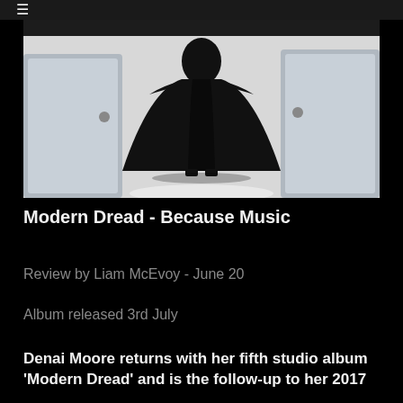≡
[Figure (photo): A figure dressed in a long black cloak/cape standing between chrome car doors on a white/grey background, photographed from below giving a dramatic silhouette effect.]
Modern Dread - Because Music
Review by Liam McEvoy - June 20
Album released 3rd July
Denai Moore returns with her fifth studio album 'Modern Dread' and is the follow-up to her 2017